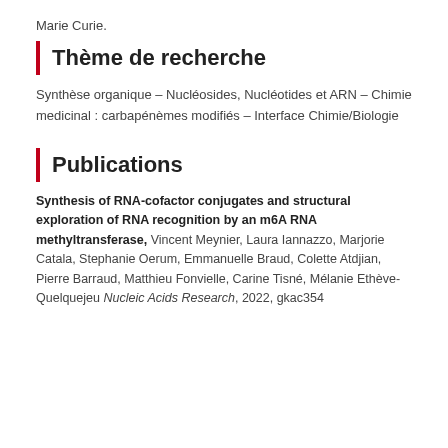Marie Curie.
Thème de recherche
Synthèse organique – Nucléosides, Nucléotides et ARN – Chimie medicinal : carbapénèmes modifiés – Interface Chimie/Biologie
Publications
Synthesis of RNA-cofactor conjugates and structural exploration of RNA recognition by an m6A RNA methyltransferase, Vincent Meynier, Laura Iannazzo, Marjorie Catala, Stephanie Oerum, Emmanuelle Braud, Colette Atdjian, Pierre Barraud, Matthieu Fonvielle, Carine Tisné, Mélanie Ethève-Quelquejeu Nucleic Acids Research, 2022, gkac354